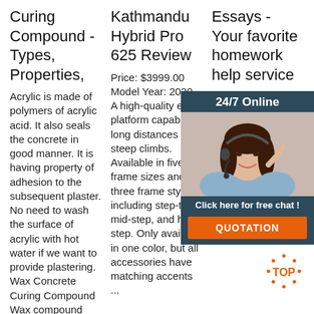Curing Compound - Types, Properties,
Acrylic is made of polymers of acrylic acid. It also seals the concrete in good manner. It is having property of adhesion to the subsequent plaster. No need to wash the surface of acrylic with hot water if we want to provide plastering. Wax Concrete Curing Compound Wax compound
Kathmandu Hybrid Pro 625 Review
Price: $3999.00
Model Year: 2020
A high-quality ebike platform capable of long distances and steep climbs. Available in five frame sizes and three frame styles including step-thru, mid-step, and high-step. Only available in one color, but all accessories have matching accents ...
Essays - Your favorite homework help service
Top Qu... Well-R... Papers... always... that wr... all you... instruc... precise... choose... acade... high sc... college/university or professional, and we will assign a writer who has a respective degree.
[Figure (infographic): Ad overlay with '24/7 Online' header, a woman with headset photo, 'Click here for free chat!' text, and orange QUOTATION button]